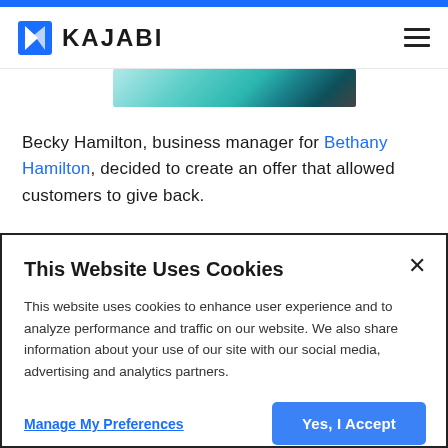KAJABI
[Figure (photo): Partial hero image showing a teal/blue-green abstract or product photo strip]
Becky Hamilton, business manager for Bethany Hamilton, decided to create an offer that allowed customers to give back.
This Website Uses Cookies
This website uses cookies to enhance user experience and to analyze performance and traffic on our website. We also share information about your use of our site with our social media, advertising and analytics partners.
Manage My Preferences    Yes, I Accept